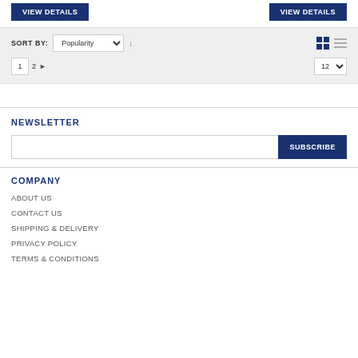VIEW DETAILS | VIEW DETAILS
SORT BY: Popularity ↓  [grid] [list]  1  2  ▶  12
NEWSLETTER
SUBSCRIBE
COMPANY
ABOUT US
CONTACT US
SHIPPING & DELIVERY
PRIVACY POLICY
TERMS & CONDITIONS